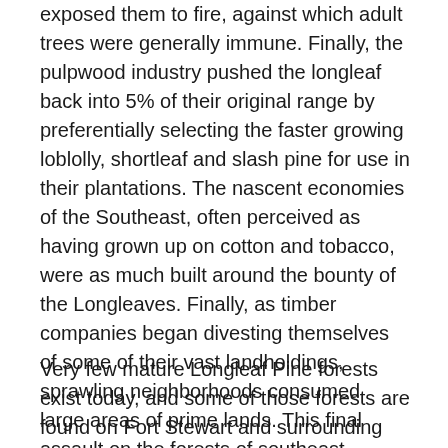exposed them to fire, against which adult trees were generally immune. Finally, the pulpwood industry pushed the longleaf back into 5% of their original range by preferentially selecting the faster growing loblolly, shortleaf and slash pine for use in their plantations. The nascent economies of the Southeast, often perceived as having grown up on cotton and tobacco, were as much built around the bounty of the Longleaves. Finally, as timber companies began divesting themselves of some of their vast landholdings, sprawling neighborhoods consumed large areas of prime lands. This final assault on the forests of southeast Georgia is one of the key motivations for the ACUB program.
Very few mature Longleaf Pine forests exist today, and some of those forests are found on Fort Stewart and surrounding lands. The Red-Cockaded Woodpecker and